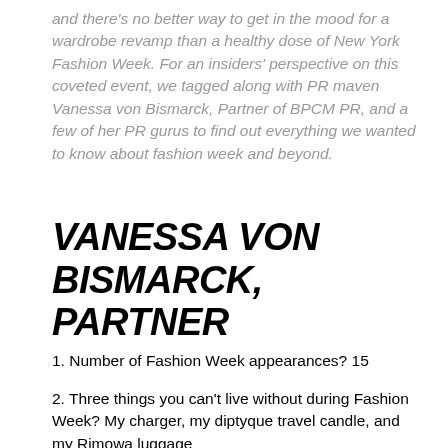and there's no better way to get in the mood for a wardrobe revamp than a healthy dose of New York Fashion Week. For an insiders' perspective on this coveted event, we tagged along with PR maven Vanessa von Bismarck, Partner of BPCM PR, and a few of her PR gurus to find out everything we wanted to know about fashion week and beyond.
VANESSA VON BISMARCK, PARTNER
1. Number of Fashion Week appearances? 15
2. Three things you can't live without during Fashion Week? My charger, my diptyque travel candle, and my Rimowa luggage